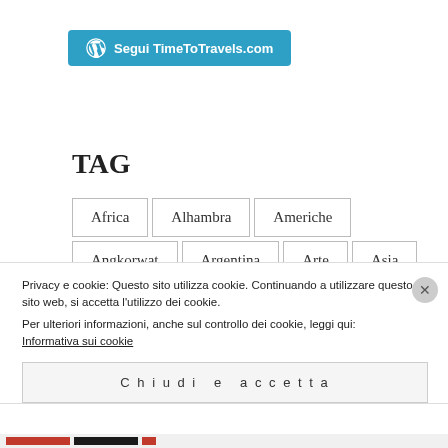[Figure (logo): WordPress follow button: blue rounded rectangle with WordPress icon and text 'Segui TimeToTravels.com']
TAG
Africa
Alhambra
Americhe
Angkorwat
Argentina
Arte
Asia
Bali
Birkenau
Blogging
Bookstores
Privacy e cookie: Questo sito utilizza cookie. Continuando a utilizzare questo sito web, si accetta l'utilizzo dei cookie.
Per ulteriori informazioni, anche sul controllo dei cookie, leggi qui:
Informativa sui cookie
Chiudi e accetta